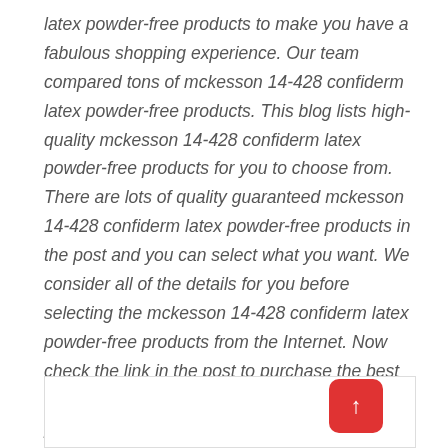latex powder-free products to make you have a fabulous shopping experience. Our team compared tons of mckesson 14-428 confiderm latex powder-free products. This blog lists high-quality mckesson 14-428 confiderm latex powder-free products for you to choose from. There are lots of quality guaranteed mckesson 14-428 confiderm latex powder-free products in the post and you can select what you want. We consider all of the details for you before selecting the mckesson 14-428 confiderm latex powder-free products from the Internet. Now check the link in the post to purchase the best mckesson 14-428 confiderm latex powder-free products.
[Figure (other): A bordered box at the bottom of the page with a red rounded-corner button containing an upward arrow in the top-right corner of the box.]